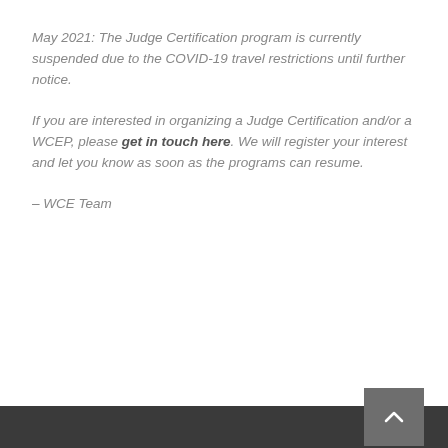May 2021: The Judge Certification program is currently suspended due to the COVID-19 travel restrictions until further notice.
If you are interested in organizing a Judge Certification and/or a WCEP, please get in touch here. We will register your interest and let you know as soon as the programs can resume.
– WCE Team